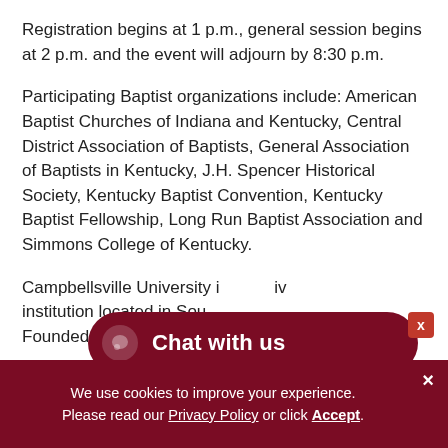Registration begins at 1 p.m., general session begins at 2 p.m. and the event will adjourn by 8:30 p.m.
Participating Baptist organizations include: American Baptist Churches of Indiana and Kentucky, Central District Association of Baptists, General Association of Baptists in Kentucky, J.H. Spencer Historical Society, Kentucky Baptist Convention, Kentucky Baptist Fellowship, Long Run Baptist Association and Simmons College of Kentucky.
Campbellsville University i[...] iv[...]  institution located in Sou[...] Founded in 1906, Campbe[...]
[Figure (other): Chat with us button overlay — a dark red rounded pill button with a speech bubble icon and 'Chat with us' text, and an X close button.]
[Figure (other): Cookie consent bar at the bottom of the page — dark red background, text reads 'We use cookies to improve your experience. Please read our Privacy Policy or click Accept.' with an X close button.]